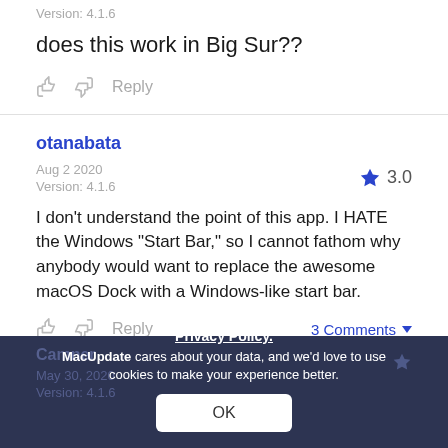Version: 4.1.6
does this work in Big Sur??
Reply
otanabata
Aug 2 2020
Version: 4.1.6
★ 3.0
I don't understand the point of this app. I HATE the Windows "Start Bar," so I cannot fathom why anybody would want to replace the awesome macOS Dock with a Windows-like start bar.
Reply  3 Comments ▾
Camner
May 30, 2020
Version: 4.1.6
Privacy Policy.
MacUpdate cares about your data, and we'd love to use cookies to make your experience better.
OK